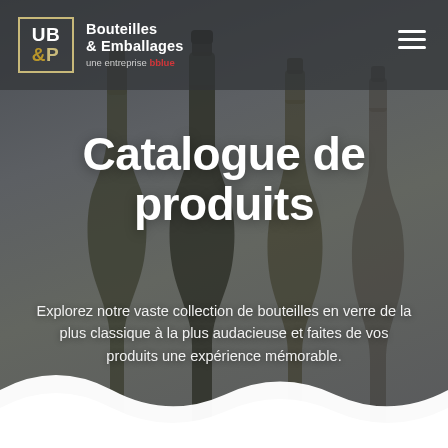[Figure (photo): Dark background with glass wine bottle silhouettes in dark green/brown tones against a gray backdrop, with a white wave shape at the bottom]
UB &P  Bouteilles & Emballages  une entreprise [brand name]
Catalogue de produits
Explorez notre vaste collection de bouteilles en verre de la plus classique à la plus audacieuse et faites de vos produits une expérience mémorable.